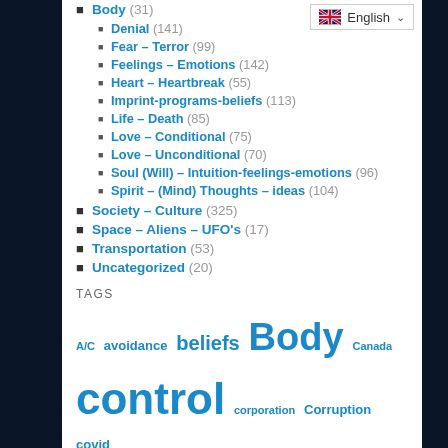Body (31)
Denial (141)
Fear – Terror (99)
Feelings – Emotions (142)
Heart – Heartbreak (55)
Imprint-programs-beliefs (113)
Life – Death (85)
Love – Conditional (75)
Love – Unconditional (70)
Soul (Will) – Intuition-feelings-emotions (96)
Spirit – (Mind) Thoughts – ideas (104)
Society – Culture (325)
Space – Aliens – UFO's (17)
Transportation (53)
Uncategorized (20)
TAGS
A/C avoidance beliefs Body Canada control corporation Corruption covid